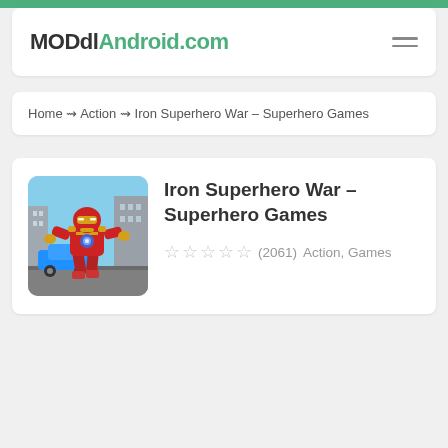MODdlAndroid.com
Home ~> Action ~> Iron Superhero War – Superhero Games
[Figure (screenshot): Iron Man-style superhero character crouching in a city street with a blue car in background]
Iron Superhero War – Superhero Games
☆☆☆☆☆ (2061)  Action, Games